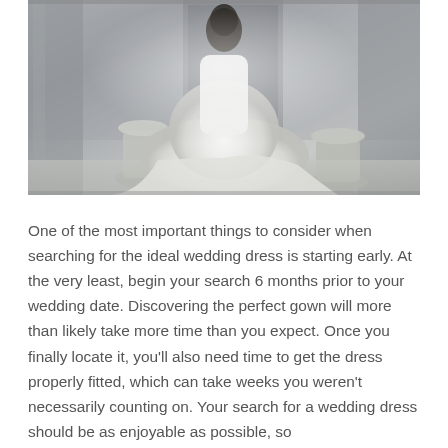[Figure (photo): A woman in an elaborate white wedding dress with a long tulle skirt, standing in an ornate grey interior with decorative urns and columns.]
One of the most important things to consider when searching for the ideal wedding dress is starting early. At the very least, begin your search 6 months prior to your wedding date. Discovering the perfect gown will more than likely take more time than you expect. Once you finally locate it, you'll also need time to get the dress properly fitted, which can take weeks you weren't necessarily counting on. Your search for a wedding dress should be as enjoyable as possible, so